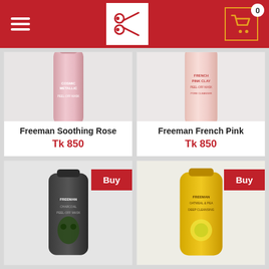Navigation bar with hamburger menu, logo, and cart (0 items)
[Figure (photo): Freeman Soothing Rose product tube (pink/metallic, Cosmic Metallic Peel-Off Mask)]
Freeman Soothing Rose
Tk 850
[Figure (photo): Freeman French Pink Clay Peel-Off Mask product tube (pink/clear)]
Freeman French Pink
Tk 850
[Figure (photo): Freeman charcoal/black face mask tube with Buy button]
[Figure (photo): Freeman yellow oatmeal/honey face mask tube with Buy button]